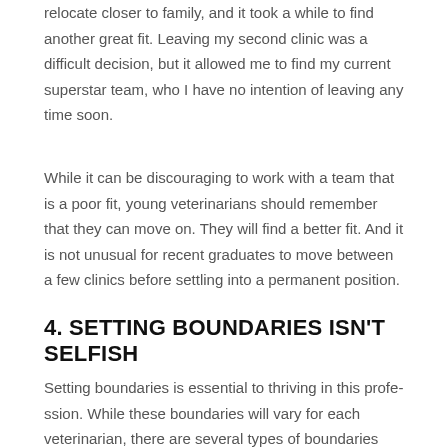After a year of practice, I left the team and clinic. I had to relocate closer to family, and it took a while to find another great fit. Leaving my second clinic was a difficult decision, but it allowed me to find my current superstar team, who I have no intention of leaving any time soon.
While it can be discouraging to work with a team that is a poor fit, young veterinarians should remember that they can move on. They will find a better fit. And it is not unusual for recent graduates to move between a few clinics before settling into a permanent position.
4. SETTING BOUNDARIES ISN'T SELFISH
Setting boundaries is essential to thriving in this profession. While these boundaries will vary for each veterinarian, there are several types of boundaries that need to be established.